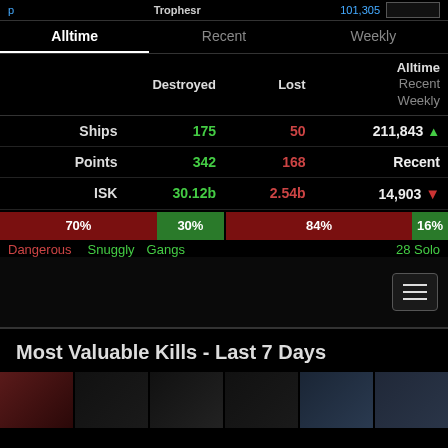Trophesr — Alltime / Recent / Weekly
|  | Destroyed | Lost | Alltime
Recent
Weekly |
| --- | --- | --- | --- |
| Ships | 175 | 50 | 211,843 ↑ |
| Points | 342 | 168 | Recent |
| ISK | 30.12b | 2.54b | 14,903 ↓ |
[Figure (infographic): Dual progress bars: 70% red / 30% green (left), 84% red / 16% green (right). Labels: Dangerous, Snuggly Gangs, 28 Solo]
[Figure (screenshot): Dark map area with hamburger menu button in bottom right]
Most Valuable Kills - Last 7 Days
[Figure (photo): Row of 6 thumbnail images of kills]